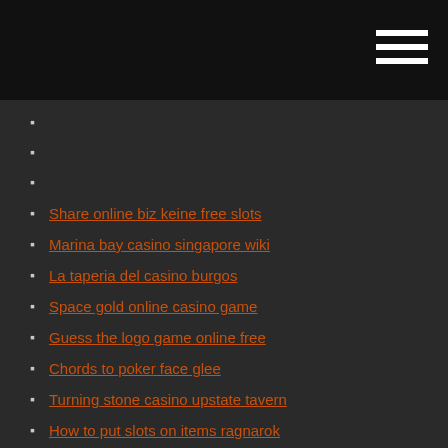Share online biz keine free slots
Marina bay casino singapore wiki
La taperia del casino burgos
Space gold online casino game
Guess the logo game online free
Chords to poker face glee
Turning stone casino upstate tavern
How to put slots on items ragnarok
Winstar casino hours of operation
Taylor 12 fret slot head cutaway
Philly casino parties lansdowne pa